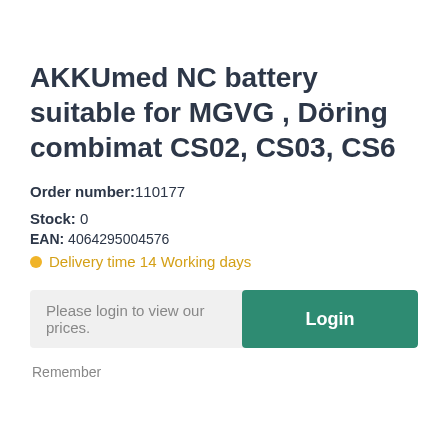AKKUmed NC battery suitable for MGVG , Döring combimat CS02, CS03, CS6
Order number:110177
Stock: 0
EAN: 4064295004576
Delivery time 14 Working days
Please login to view our prices. Login
Remember